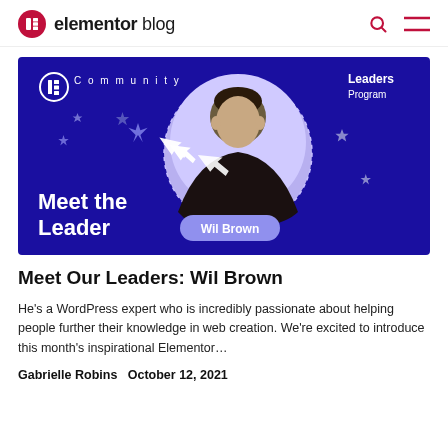elementor blog
[Figure (illustration): Elementor Community Leaders Program promotional banner. Dark navy/blue background with white sparkle stars. Center shows a circular portrait photo of Wil Brown (man with short dark hair). Text 'Community' with Elementor logo on upper left. 'Leaders Program' top right in white. Large white bold text 'Meet the Leader' bottom left. A purple rounded pill label 'Wil Brown' overlapping bottom of the portrait. A white arrow cursor icon pointing up-right.]
Meet Our Leaders: Wil Brown
He's a WordPress expert who is incredibly passionate about helping people further their knowledge in web creation. We're excited to introduce this month's inspirational Elementor…
Gabrielle Robins   October 12, 2021